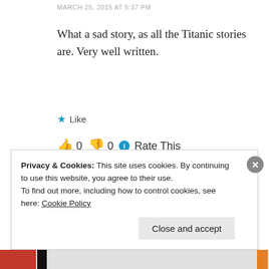MARCH 25, 2015 AT 5:37 PM
What a sad story, as all the Titanic stories are. Very well written.
★ Like
👍 0 👎 0 ℹ Rate This
REPLY
Privacy & Cookies: This site uses cookies. By continuing to use this website, you agree to their use.
To find out more, including how to control cookies, see here: Cookie Policy
Close and accept